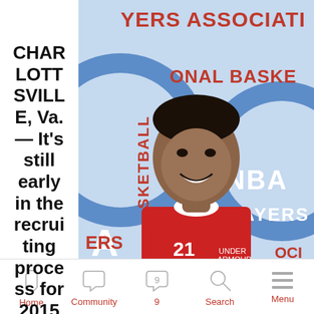[Figure (photo): Basketball player in red uniform in front of NBA Players Association backdrop]
CHARLOTTSVILLE, Va. — It's still early in the recruiting process for 2015
Home  Community  9  Search  Menu